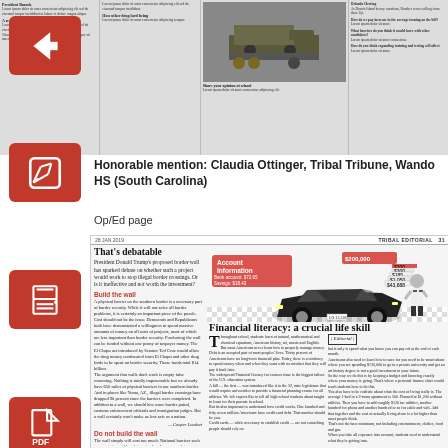[Figure (screenshot): Top portion showing a newspaper page with columns of text and a photo of military vehicles]
[Figure (other): Red navigation icon with back arrow]
[Figure (other): Red navigation icon with edit/pencil symbol]
[Figure (other): Red navigation icon with print/printer symbol]
[Figure (other): Red navigation icon with PDF/document symbol]
Honorable mention: Claudia Ottinger, Tribal Tribune, Wando HS (South Carolina)
Op/Ed page
28 JAN 2019    TRIBAL EDITORIAL  31
That's debatable
President Donald Trump's proposed border wall has sparked debate on whether such a project would work to stop illegal border crossings. Or is it ineffective and not worth the investment?
Build the wall
A physical barrier on the southern border is a necessary part of border security. While it will not solve all border problems, it is certainly an important piece of the puzzle. Cost should not be the issue. Democrats and Republicans both have demonstrated a willingness to spend massive amounts of money on all sorts of projects, most of which are less important than border security. Purchasing the wall can be funded without one penny of taxpayer money. The El Chapo act introduced by Senator Ted Cruz would allow the drug money confiscated from El Chapo and other drug lords to be spent on border security. Those funds total $14 billion. The argument that walls don't work is empty false reasoning. Nothing is totally impenetrable but we already have 650 miles of physical barriers in our southern border. And in places like Yuma, AZ., illegal border crossings have dropped 90 percent since the barriers were completed. In addition to a wall, we should hire more border patrol, customs enforcement officials and immigration judges. But a wall certainly won't make us less safe as a nation.
— Cooper Loadset
Do not build the wall
The wall simply will cost too much. National barriers such as mountains and harsh terrain already serve as deterrents to people trying to cross the border. At the moment, fences and walls were built in spots that were easiest to cross and without these natural barriers. But to replace all of these with specially designed steel structures is too much. It only burdens the upkeep of those continuing border patrol agents and paying for technology that also helps along the wall.
[Figure (infographic): Illustration of a person standing next to a Lamborghini sports car with a red box showing 'Account Information: Bank account: $72.65, Savings: $18.43' and dollar amounts floating: $200,000, $300, $300, $185, $1,050, $43,888 representing financial literacy concept]
Financial literacy: a crucial life skill
Throughout school, students learn of natural, mathematical and chemical equations, American history, art, music and English. But most Americans never learn how to properly manage money. Debt is an accepted part of most peoples' lives. Thirty percent of Americans have no long-term financial plan. Today, there is a tendency to spend money when and when they want with no mindset that they will pay it back later. The widespread Financial literacy for courses issue is the biggest failure of the U.S. education system. A bill — the first — was introduced like it to the 32, state legislature that would require universities to provide a financial planning course for all athletes. We felt experts like to tell all high school students about taught to learn for their parents in school. But its also important to understand how credit works. One hundred and fifty seven million Americans have credit card debt. That number should be you. Credit cards — while necessary to establish credit — are not something people should rely on. You should never use a credit card to buy things you can't afford in cash to a store using cash. Things you can't afford in cash. College students is key — we the great-deal is managing college students to live them to the dark side of credit. Credit card interest runs average out around 18 percent each month, meaning that if you go into debt, the amount of money you will owe will increase by a huge amount. One way to combat this problem is only to spend what you know you can pay off at the end of each month. Americans also need to learn how to save for you need to be smart about where you are spending $130,000 to go to a private university and get an art history degree is not a good investment in your future. So the way we do this is by keeping a budget and knowing exactly where your money is going. That's where a financial literacy class would teach students how to do this. You also have to be realistic about what the cost of living really is. The average 1-bed in a 2-room apartment is 300. Planned at $1,200 without utilities. Then you have to add roughly $120 for utilities, another hundred for phone and another hundred or so for cable and wifi. Add that together and the cost of actually living alone is a lot higher than most people think. That's not the bare minimum, not including entertainment, clothes, food and gas. When you take all expenses into account, students need to understand what they're getting into.
| Editorial |